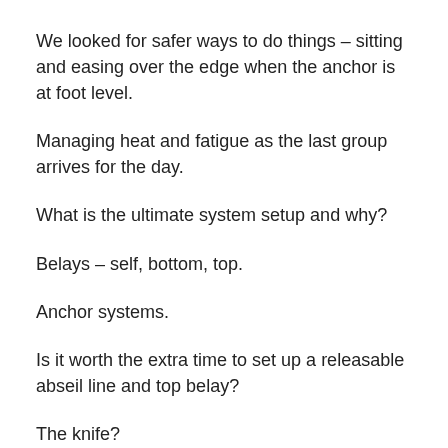We looked for safer ways to do things – sitting and easing over the edge when the anchor is at foot level.
Managing heat and fatigue as the last group arrives for the day.
What is the ultimate system setup and why?
Belays – self, bottom, top.
Anchor systems.
Is it worth the extra time to set up a releasable abseil line and top belay?
The knife?